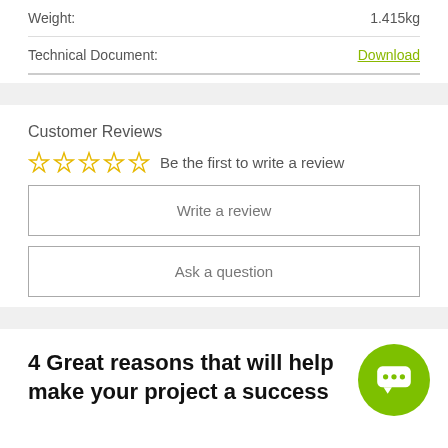| Weight: | 1.415kg |
| Technical Document: | Download |
Customer Reviews
☆☆☆☆☆ Be the first to write a review
Write a review
Ask a question
4 Great reasons that will help make your project a success